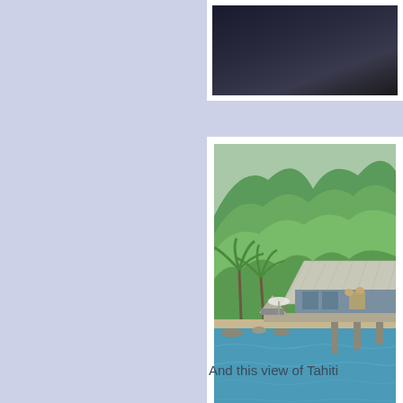[Figure (photo): Aerial or distant view with dark water/sky scene, partially visible at top right of page]
[Figure (photo): Overwater bungalow resort in Tahiti with thatched roof structure on pier over turquoise water, lush green tropical mountain in background, palm trees visible]
And this view of Tahiti